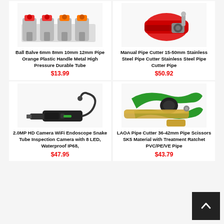[Figure (photo): Ball valves with orange/red plastic handles, multiple pipe valves side by side]
Ball Balve 6mm 8mm 10mm 12mm Pipe Orange Plastic Handle Metal High Pressure Durable Tube
$13.99
[Figure (photo): Manual red pipe cutter tool on white background]
Manual Pipe Cutter 15-50mm Stainless Steel Pipe Cutter Stainless Steel Pipe Cutter Pipe
$50.92
[Figure (photo): 2.0MP HD Camera WiFi Endoscope snake tube inspection camera device]
2.0MP HD Camera WiFi Endoscope Snake Tube Inspection Camera with 8 LED, Waterproof IP68,
$47.95
[Figure (photo): Green LAOA pipe cutter scissors cutting a brass pipe]
LAOA Pipe Cutter 36-42mm Pipe Scissors SK5 Material with Treatment Ratchet PVC/PE/VE Pipe
$43.79